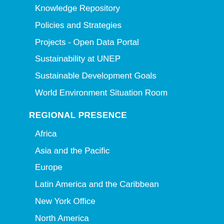Knowledge Repository
Policies and Strategies
Projects - Open Data Portal
Sustainability at UNEP
Sustainable Development Goals
World Environment Situation Room
REGIONAL PRESENCE
Africa
Asia and the Pacific
Europe
Latin America and the Caribbean
New York Office
North America
West Asia
ADVOCACY
Beat Pollution